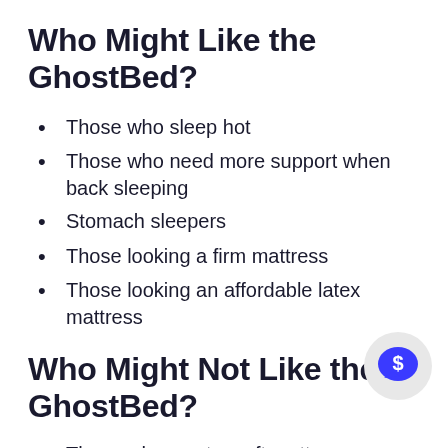Who Might Like the GhostBed?
Those who sleep hot
Those who need more support when back sleeping
Stomach sleepers
Those looking a firm mattress
Those looking an affordable latex mattress
Who Might Not Like the GhostBed?
Those who want a soft mattress
Side sleepers